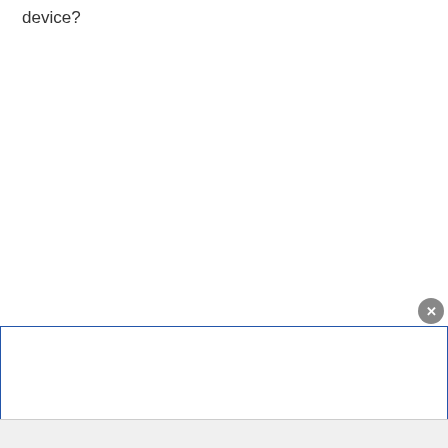device?
[Figure (screenshot): An input/text field UI element with a close (X) button in the upper right corner and a blue border outline, positioned at the bottom of the page.]